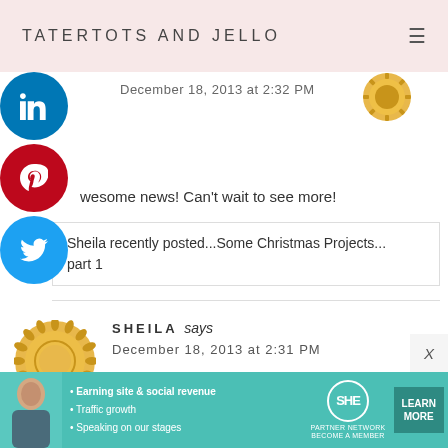TATERTOTS AND JELLO
December 18, 2013 at 2:32 PM
wesome news! Can't wait to see more!
Sheila recently posted...Some Christmas Projects... part 1
SHEILA says
December 18, 2013 at 2:31 PM
[Figure (other): SHE Partner Network advertisement banner with photo of woman, bullet points: Earning site & social revenue, Traffic growth, Speaking on our stages, and Learn More button]